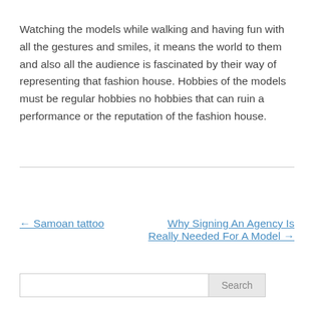Watching the models while walking and having fun with all the gestures and smiles, it means the world to them and also all the audience is fascinated by their way of representing that fashion house. Hobbies of the models must be regular hobbies no hobbies that can ruin a performance or the reputation of the fashion house.
← Samoan tattoo
Why Signing An Agency Is Really Needed For A Model →
Search